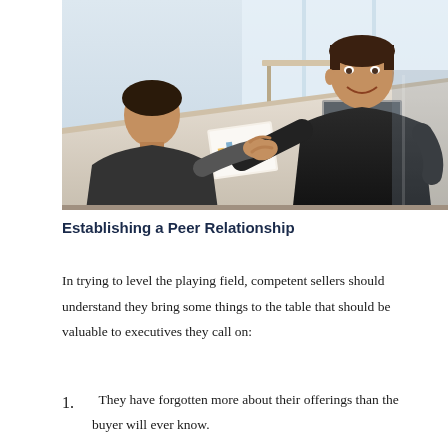[Figure (photo): Two businessmen shaking hands across a desk in a modern office, with a laptop, papers with charts, and office furniture visible in the background.]
Establishing a Peer Relationship
In trying to level the playing field, competent sellers should understand they bring some things to the table that should be valuable to executives they call on:
They have forgotten more about their offerings than the buyer will ever know.